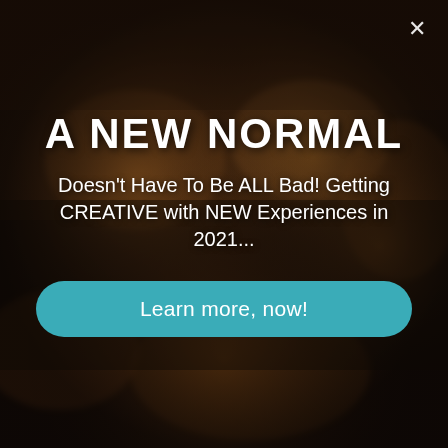[Figure (photo): Dark atmospheric photo of people at a dinner party raising wine glasses in a toast, with warm string lights in the background and food on the table. Bokeh lighting creates a warm, social ambiance.]
A NEW NORMAL
Doesn't Have To Be ALL Bad! Getting CREATIVE with NEW Experiences in 2021...
Learn more, now!